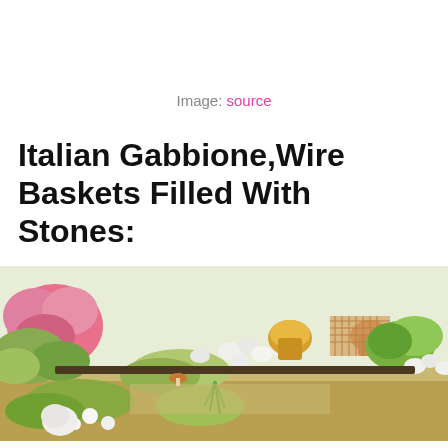Image: source
Italian Gabbione,Wire Baskets Filled With Stones:
[Figure (photo): A miniature garden scene with various plants including pink flowers, green succulents, moss, small white stones, and decorative pottery items arranged in a wire basket filled with stones (gabbione style).]